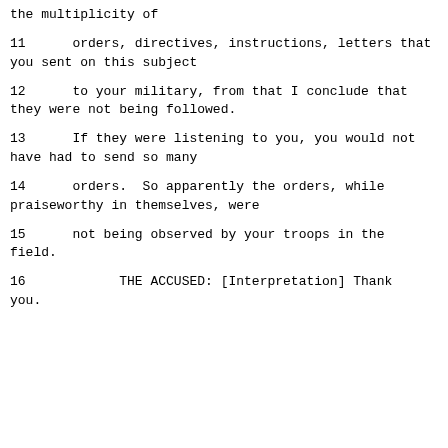the multiplicity of
11     orders, directives, instructions, letters that you sent on this subject
12     to your military, from that I conclude that they were not being followed.
13     If they were listening to you, you would not have had to send so many
14     orders.  So apparently the orders, while praiseworthy in themselves, were
15     not being observed by your troops in the field.
16          THE ACCUSED: [Interpretation] Thank you.